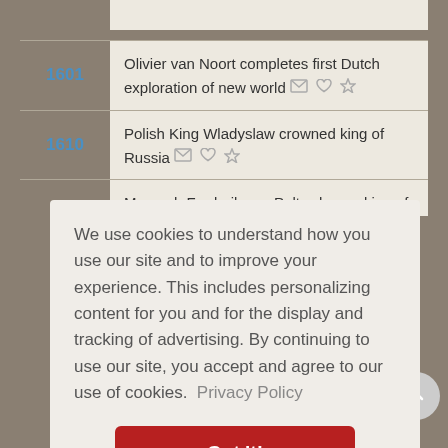1601 — Olivier van Noort completes first Dutch exploration of new world
1610 — Polish King Wladyslaw crowned king of Russia
Monarch Frederik van Palts chosen king of Bohemia (partial, cut off)
We use cookies to understand how you use our site and to improve your experience. This includes personalizing content for you and for the display and tracking of advertising. By continuing to use our site, you accept and agree to our use of cookies. Privacy Policy
Got it!